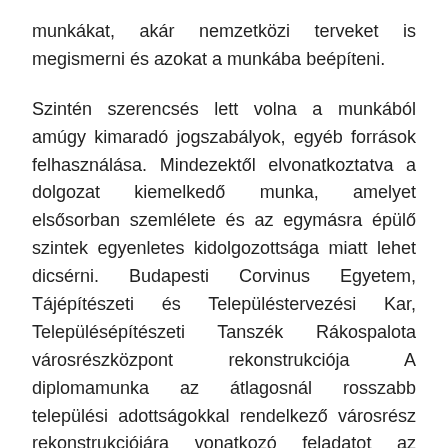munkákat, akár nemzetközi terveket is megismerni és azokat a munkába beépíteni.
Szintén szerencsés lett volna a munkából amúgy kimaradó jogszabályok, egyéb források felhasználása. Mindezektől elvonatkoztatva a dolgozat kiemelkedő munka, amelyet elsősorban szemlélete és az egymásra épülő szintek egyenletes kidolgozottsága miatt lehet dicsérni. Budapesti Corvinus Egyetem, Tájépítészeti és Településtervezési Kar, Településépítészeti Tanszék Rákospalota városrészközpont rekonstrukciója A diplomamunka az átlagosnál rosszabb települési adottságokkal rendelkező városrész rekonstrukciójára vonatkozó feladatot az elvárható szintet messze meghaladó igényességgel oldja meg.